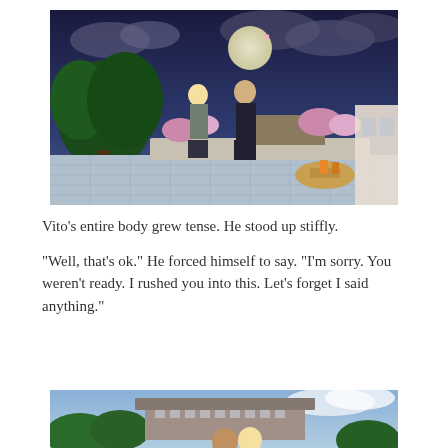[Figure (screenshot): Screenshot from The Sims 4 video game showing two Sim characters standing on a patio at night, facing each other under a full moon with trees and flowers in the background.]
Vito's entire body grew tense. He stood up stiffly.
“Well, that’s ok.” He forced himself to say. “I’m sorry. You weren’t ready. I rushed you into this. Let’s forget I said anything.”
[Figure (screenshot): Partial screenshot from The Sims 4 showing two Sim characters outdoors during daytime, cropped at the bottom of the page.]